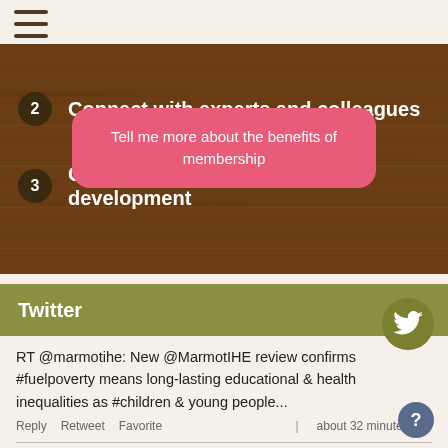2 Connect with experts and colleagues
3 Contribute to your professional development
Tell me more about the benefits of membership
Twitter
RT @marmotihe: New @MarmotIHE review confirms #fuelpoverty means long-lasting educational & health inequalities as #children & young people...
Reply   Retweet   Favorite   | about 32 minutes ago
RT @EPAPsyEpi: We've just published our Full Scientific Programme for #EPAPsyEpi2022 Find the complete list of plenaries, themed symposia,...